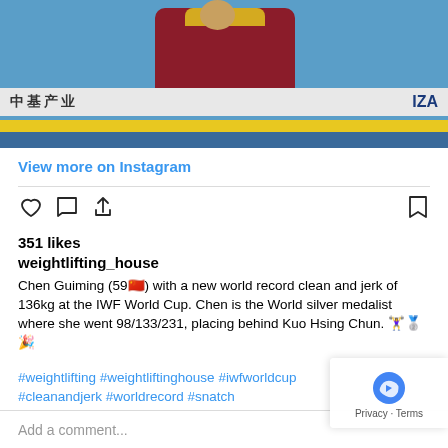[Figure (photo): A weightlifter at a competition, wearing maroon/red uniform, with blue background and Chinese sponsor banners. Yellow bar visible at platform level.]
View more on Instagram
351 likes
weightlifting_house
Chen Guiming (59🇨🇳) with a new world record clean and jerk of 136kg at the IWF World Cup. Chen is the World silver medalist where she went 98/133/231, placing behind Kuo Hsing Chun. 🏋️‍♀️🥈🎉
#weightlifting #weightliftinghouse #iwfworldcup #cleanandjerk #worldrecord #snatch #olympiclifting #olympicweightlifting
Add a comment...